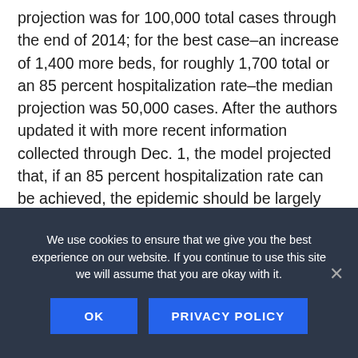projection was for 100,000 total cases through the end of 2014; for the best case–an increase of 1,400 more beds, for roughly 1,700 total or an 85 percent hospitalization rate–the median projection was 50,000 cases. After the authors updated it with more recent information collected through Dec. 1, the model projected that, if an 85 percent hospitalization rate can be achieved, the epidemic should be largely contained by June.
“That’s a realistic possibility but not a foregone conclusion,” Drake said. “What’s needed is to maintain the current level of vigilance and keep pressing forward as hard as we can.”
We use cookies to ensure that we give you the best experience on our website. If you continue to use this site we will assume that you are okay with it.